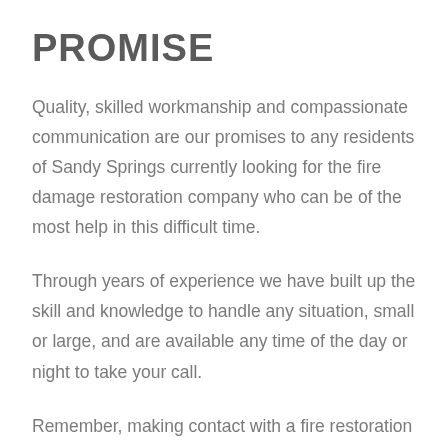PROMISE
Quality, skilled workmanship and compassionate communication are our promises to any residents of Sandy Springs currently looking for the fire damage restoration company who can be of the most help in this difficult time.
Through years of experience we have built up the skill and knowledge to handle any situation, small or large, and are available any time of the day or night to take your call.
Remember, making contact with a fire restoration